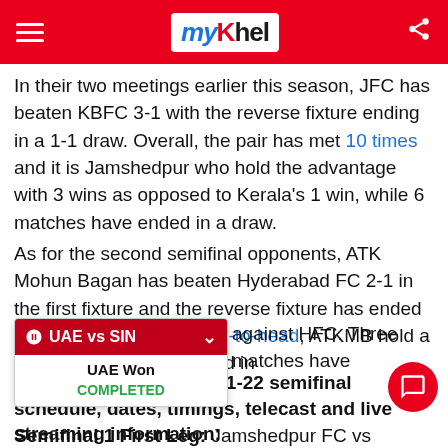myKhel
In their two meetings earlier this season, JFC has beaten KBFC 3-1 with the reverse fixture ending in a 1-1 draw. Overall, the pair has met 10 times and it is Jamshedpur who hold the advantage with 3 wins as opposed to Kerala's 1 win, while 6 matches have ended in a draw.
As for the second semifinal opponents, ATK Mohun Bagan has beaten Hyderabad FC 2-1 in the first fixture and the reverse fixture has ended in a 2-2 draw. In the head-to-head, ATKMB hold a slight edge with a 1-0 lead in [UAE vs SIN dropdown overlay] against HFC. Three matches have
[Figure (screenshot): Dropdown widget showing UAE vs SIN match result: UAE Won, COMPLETED]
Now look at the ISL 2021-22 semifinal schedule, dates, timings, telecast and live streaming information:
Semifinal 1 First Leg: Jamshedpur FC vs Kerala Blasters